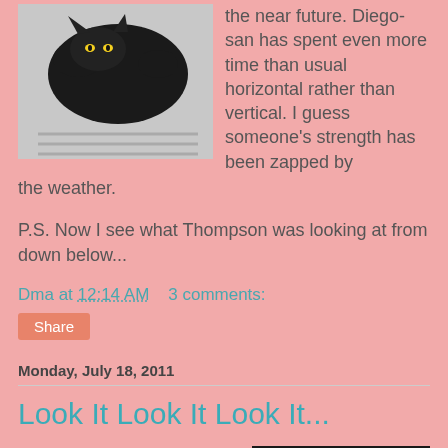[Figure (photo): A black cat lying on a striped surface, viewed from above]
the near future. Diego-san has spent even more time than usual horizontal rather than vertical. I guess someone's strength has been zapped by the weather.
P.S. Now I see what Thompson was looking at from down below...
Dma at 12:14 AM    3 comments:
Share
Monday, July 18, 2011
Look It Look It Look It...
Thompson is playing "made you look." I refuse to fall for such tricks.
[Figure (photo): A dark photo showing a cat or object on a surface, dimly lit]